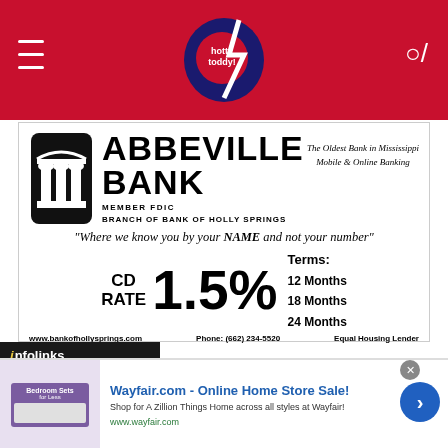[Figure (logo): Hotty Toddy website header with red background, hamburger menu icon, Hotty Toddy logo in center, and search icon]
[Figure (logo): Abbeville Bank advertisement banner. Bank logo with building icon, text ABBEVILLE BANK, MEMBER FDIC, BRANCH OF BANK OF HOLLY SPRINGS, The Oldest Bank in Mississippi, Mobile & Online Banking]
"Where we know you by your NAME and not your number"
CD RATE 1.5% Terms: 12 Months 18 Months 24 Months
www.bankofhollysprings.com   Phone: (662) 234-5520   Equal Housing Lender
[Figure (screenshot): Infolinks advertisement bar with dark background]
[Figure (screenshot): Wayfair.com - Online Home Store Sale! advertisement with bedroom furniture image, blue title, descriptive text, and arrow button]